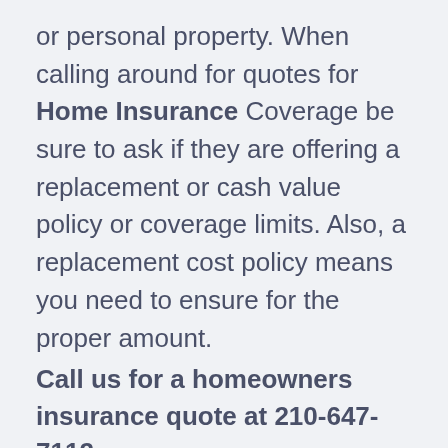or personal property. When calling around for quotes for Home Insurance Coverage be sure to ask if they are offering a replacement or cash value policy or coverage limits. Also, a replacement cost policy means you need to ensure for the proper amount.
Call us for a homeowners insurance quote at 210-647-7112
Covered Perils: As I mentioned earlier, there are different homeowners insurance forms in the marketplace. Not all will offer coverage for foundation